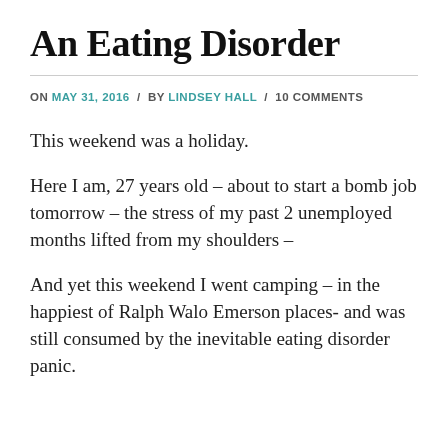An Eating Disorder
ON MAY 31, 2016 / BY LINDSEY HALL / 10 COMMENTS
This weekend was a holiday.
Here I am, 27 years old – about to start a bomb job tomorrow – the stress of my past 2 unemployed months lifted from my shoulders –
And yet this weekend I went camping – in the happiest of Ralph Walo Emerson places- and was still consumed by the inevitable eating disorder panic.